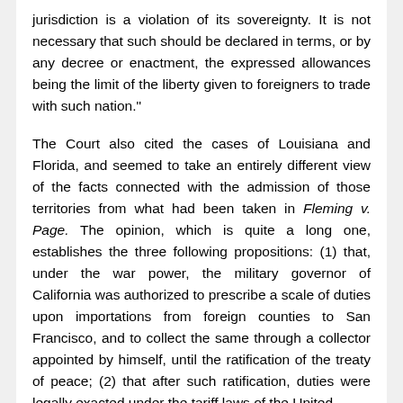jurisdiction is a violation of its sovereignty. It is not necessary that such should be declared in terms, or by any decree or enactment, the expressed allowances being the limit of the liberty given to foreigners to trade with such nation."
The Court also cited the cases of Louisiana and Florida, and seemed to take an entirely different view of the facts connected with the admission of those territories from what had been taken in Fleming v. Page. The opinion, which is quite a long one, establishes the three following propositions: (1) that, under the war power, the military governor of California was authorized to prescribe a scale of duties upon importations from foreign counties to San Francisco, and to collect the same through a collector appointed by himself, until the ratification of the treaty of peace; (2) that after such ratification, duties were legally exacted under the tariff laws of the United